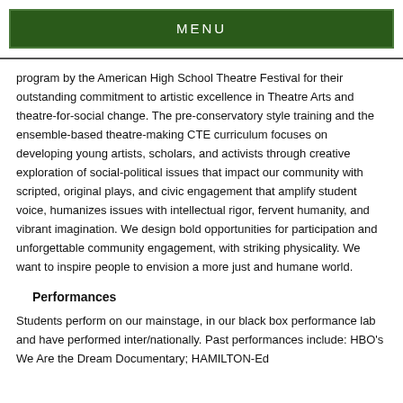MENU
program by the American High School Theatre Festival for their outstanding commitment to artistic excellence in Theatre Arts and theatre-for-social change. The pre-conservatory style training and the ensemble-based theatre-making CTE curriculum focuses on developing young artists, scholars, and activists through creative exploration of social-political issues that impact our community with scripted, original plays, and civic engagement that amplify student voice, humanizes issues with intellectual rigor, fervent humanity, and vibrant imagination. We design bold opportunities for participation and unforgettable community engagement, with striking physicality. We want to inspire people to envision a more just and humane world.
Performances
Students perform on our mainstage, in our black box performance lab and have performed inter/nationally. Past performances include: HBO's We Are the Dream Documentary; HAMILTON-Ed